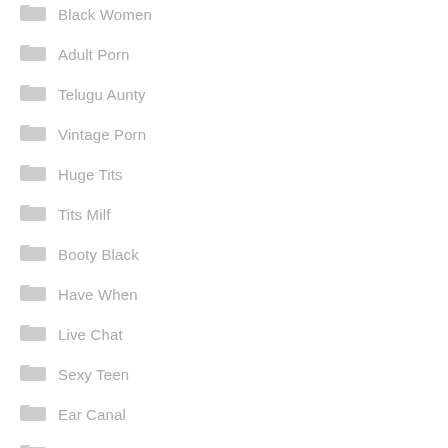Black Women
Adult Porn
Telugu Aunty
Vintage Porn
Huge Tits
Tits Milf
Booty Black
Have When
Live Chat
Sexy Teen
Ear Canal
Anal First
Booty Pict...